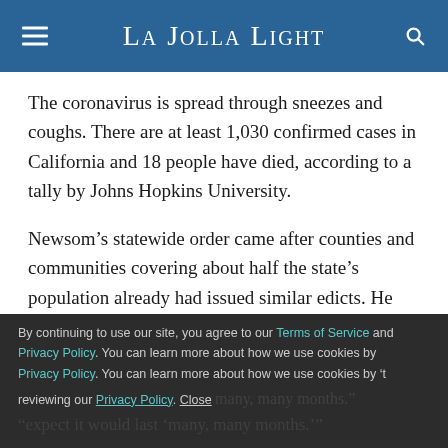La Jolla Light
The coronavirus is spread through sneezes and coughs. There are at least 1,030 confirmed cases in California and 18 people have died, according to a tally by Johns Hopkins University.
Newsom’s statewide order came after counties and communities covering about half the state’s population already had issued similar edicts. He said the restriction is “open-ended” because it could raise false hopes if he included an end date.
By continuing to use our site, you agree to our Terms of Service and Privacy Policy. You can learn more about how we use cookies by reviewing our Privacy Policy. Close
“expect it would last ‘many, many months.’”